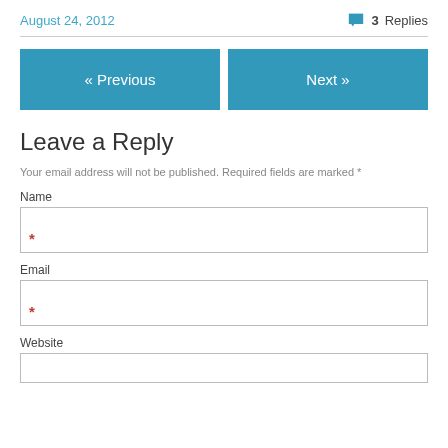August 24, 2012   3 Replies
« Previous   Next »
Leave a Reply
Your email address will not be published. Required fields are marked *
Name
Email
Website